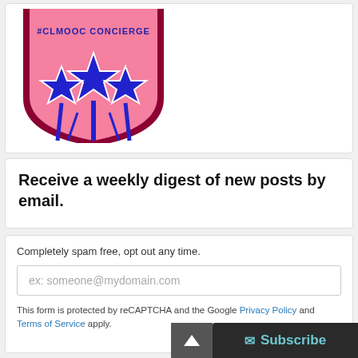[Figure (logo): CLMOOC Concierge badge illustration: pink shield/medal shape with dark red border, text '#CLMOOC CONCIERGE' in blue at top, three blue stars with white outlines at bottom center on pink background.]
Receive a weekly digest of new posts by email.
Completely spam free, opt out any time.
ex: someone@mydomain.com
This form is protected by reCAPTCHA and the Google Privacy Policy and Terms of Service apply.